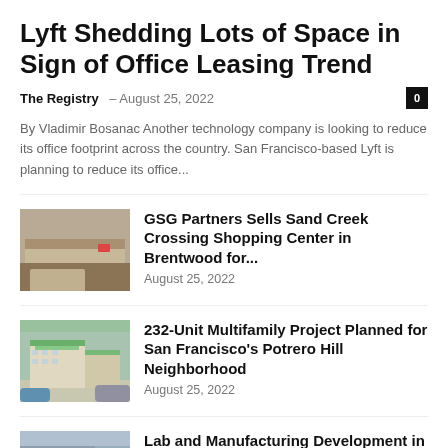Lyft Shedding Lots of Space in Sign of Office Leasing Trend
The Registry – August 25, 2022
By Vladimir Bosanac Another technology company is looking to reduce its office footprint across the country. San Francisco-based Lyft is planning to reduce its office...
[Figure (photo): Exterior photo of a shopping center with parked cars]
GSG Partners Sells Sand Creek Crossing Shopping Center in Brentwood for...
August 25, 2022
[Figure (photo): Architectural rendering of a multifamily residential building with green rooftop]
232-Unit Multifamily Project Planned for San Francisco's Potrero Hill Neighborhood
August 25, 2022
[Figure (photo): Photo of a lab and manufacturing development building under construction]
Lab and Manufacturing Development in San Francisco's Dogpatch Neighborhood Makes Strides...
August 25, 2022